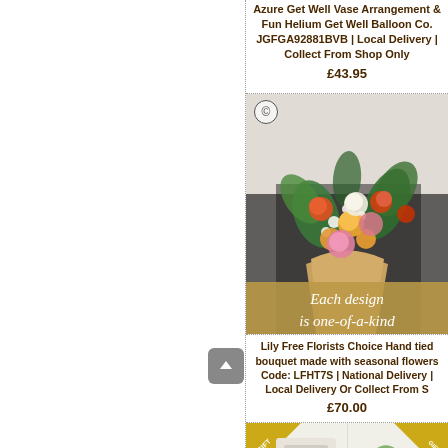Azure Get Well Vase Arrangement & Fun Helium Get Well Balloon Co. JGFGA92881BVB | Local Delivery | Collect From Shop Only
£43.95
[Figure (photo): Photo of a colourful hand-tied flower bouquet with orange, pink, yellow, and white flowers with green foliage, held by a florist in an apron. An overlay banner reads: Each design is one-of-a-kind]
Lily Free Florists Choice Hand tied bouquet made with seasonal flowers Code: LFHT7S | National Delivery | Local Delivery Or Collect From Shop
£70.00
[Figure (photo): Two product thumbnails at the bottom — left shows a gift set item, right shows another gift product with ribbons]